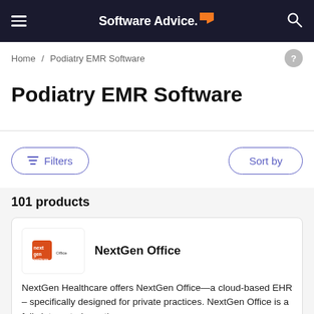Software Advice.
Home / Podiatry EMR Software
Podiatry EMR Software
Filters   Sort by
101 products
NextGen Office
NextGen Healthcare offers NextGen Office—a cloud-based EHR – specifically designed for private practices. NextGen Office is a fully integrated practice